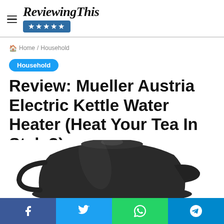ReviewingThis ★★★★★
Home / Household
Household
Review: Mueller Austria Electric Kettle Water Heater (Heat Your Tea In Style?)
[Figure (photo): Photo of a black Mueller Austria electric kettle, showing the top portion of the kettle against a white background.]
Facebook | Twitter | WhatsApp | Telegram